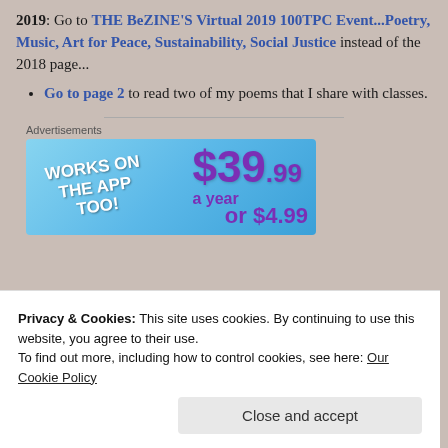2019: Go to THE BeZINE'S Virtual 2019 100TPC Event...Poetry, Music, Art for Peace, Sustainability, Social Justice instead of the 2018 page...
Go to page 2 to read two of my poems that I share with classes.
[Figure (other): Advertisement banner: 'WORKS ON THE APP TOO!' with price $39.99 a year or $4.99]
Privacy & Cookies: This site uses cookies. By continuing to use this website, you agree to their use. To find out more, including how to control cookies, see here: Our Cookie Policy